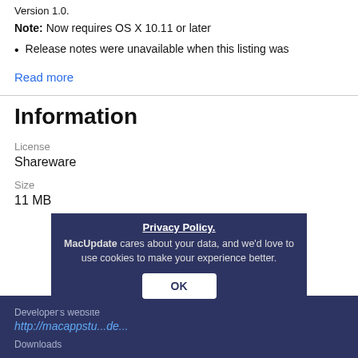Version 1.0.
Note: Now requires OS X 10.11 or later
Release notes were unavailable when this listing was
Read more
Information
License
Shareware
Size
11 MB
Developer's website
http://macappstu...de...
Downloads
Privacy Policy. MacUpdate cares about your data, and we'd love to use cookies to make your experience better. OK